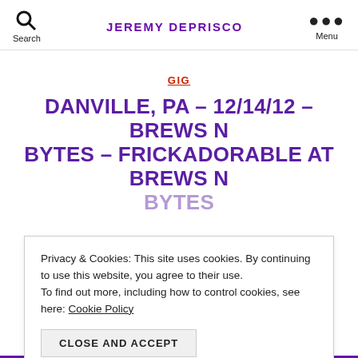JEREMY DEPRISCO
GIG
DANVILLE, PA – 12/14/12 – BREWS N BYTES – FRICKADORABLE AT BREWS N BYTES
Privacy & Cookies: This site uses cookies. By continuing to use this website, you agree to their use. To find out more, including how to control cookies, see here: Cookie Policy
CLOSE AND ACCEPT